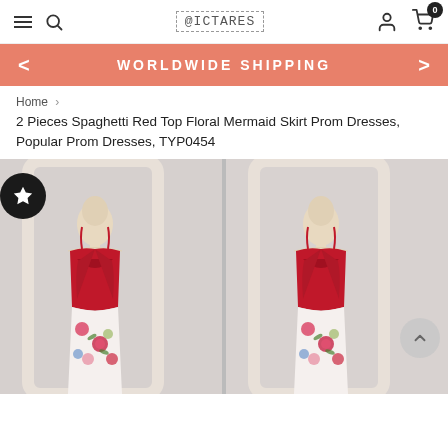Navigation bar with hamburger menu, search, logo (DICTARES), user icon, cart (0)
WORLDWIDE SHIPPING
Home > 2 Pieces Spaghetti Red Top Floral Mermaid Skirt Prom Dresses, Popular Prom Dresses, TYP0454
[Figure (photo): Two side-by-side images of a two-piece prom dress on mannequins: red spaghetti-strap crop top with sweetheart neckline and a floral mermaid skirt with white background and pink/red roses. Displayed in front of ornate white mirrors. Left panel shows front/back view, right panel shows front view. Black star badge in top-left corner. Gray scroll-to-top chevron button visible on right side.]